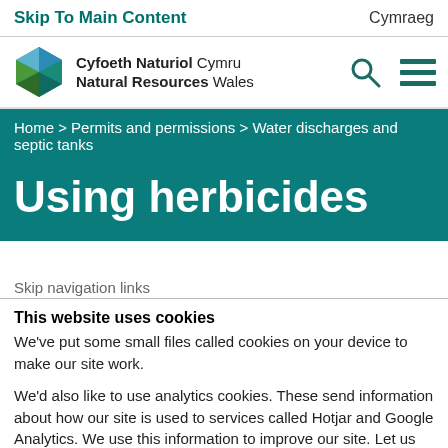Skip To Main Content | Cymraeg
[Figure (logo): Cyfoeth Naturiol Cymru / Natural Resources Wales logo with hexagonal gem icon in blue, green, and teal]
Home > Permits and permissions > Water discharges and septic tanks
Using herbicides
Skip navigation links
This website uses cookies
We've put some small files called cookies on your device to make our site work.
We'd also like to use analytics cookies. These send information about how our site is used to services called Hotjar and Google Analytics. We use this information to improve our site. Let us know if this is ok. We'll use a cookie to save your choice.